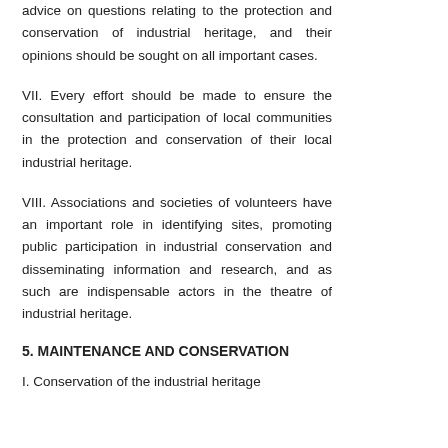advice on questions relating to the protection and conservation of industrial heritage, and their opinions should be sought on all important cases.
VII. Every effort should be made to ensure the consultation and participation of local communities in the protection and conservation of their local industrial heritage.
VIII. Associations and societies of volunteers have an important role in identifying sites, promoting public participation in industrial conservation and disseminating information and research, and as such are indispensable actors in the theatre of industrial heritage.
5. MAINTENANCE AND CONSERVATION
I. Conservation of the industrial heritage